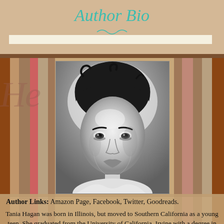Author Bio
[Figure (photo): Black and white portrait photo of Tania Hagan, a young woman with dark curly hair]
Author Links: Amazon Page, Facebook, Twitter, Goodreads.
Tania Hagan was born in Illinois, but moved to Southern California as a young teen. She graduated from the University of California, Irvine with a degree in Social Science and Psychology.
She began her writing career shortly after school, when she wrote for a major business magazine. She also read the right business content for the magazine. At th...